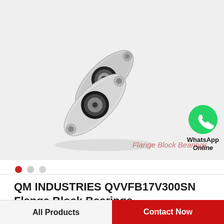[Figure (photo): Two stainless steel flange block bearings with black rubber seals, shown at a diagonal angle on a light grey background. The bearings have oval flanged housing with mounting holes.]
Flange Block Bearings
[Figure (logo): Green WhatsApp icon (circular logo with phone handset). Below it text reads: WhatsApp Online]
QM INDUSTRIES QVVFB17V300SN Flange Block Bearings
All Products
Contact Now